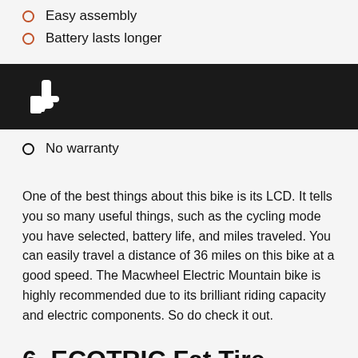Easy assembly
Battery lasts longer
[Figure (illustration): Thumbs down icon (white) on a dark/black background banner indicating cons section]
No warranty
One of the best things about this bike is its LCD. It tells you so many useful things, such as the cycling mode you have selected, battery life, and miles traveled. You can easily travel a distance of 36 miles on this bike at a good speed. The Macwheel Electric Mountain bike is highly recommended due to its brilliant riding capacity and electric components. So do check it out.
6. ECOTRIC Fat Tire Electric Bike
[Figure (photo): Partial image of ECOTRIC Fat Tire Electric Bike handlebar area, black bicycle, cropped at bottom of page]